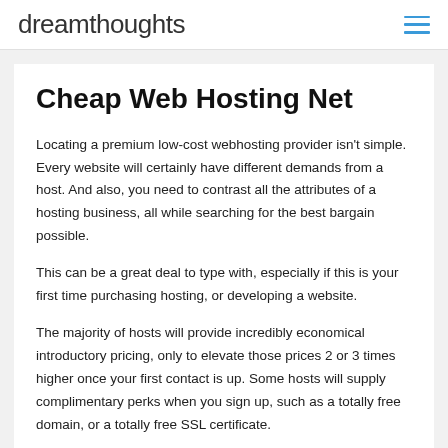dreamthoughts
Cheap Web Hosting Net
Locating a premium low-cost webhosting provider isn't simple. Every website will certainly have different demands from a host. And also, you need to contrast all the attributes of a hosting business, all while searching for the best bargain possible.
This can be a great deal to type with, especially if this is your first time purchasing hosting, or developing a website.
The majority of hosts will provide incredibly economical introductory pricing, only to elevate those prices 2 or 3 times higher once your first contact is up. Some hosts will supply complimentary perks when you sign up, such as a totally free domain, or a totally free SSL certificate.